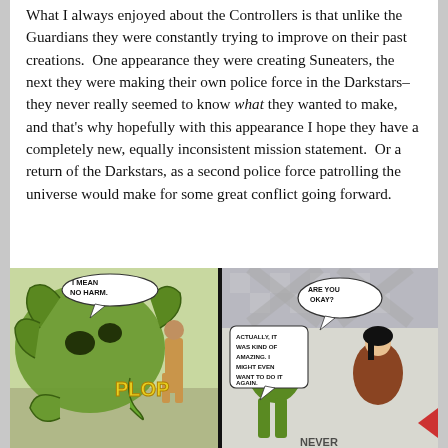What I always enjoyed about the Controllers is that unlike the Guardians they were constantly trying to improve on their past creations.  One appearance they were creating Suneaters, the next they were making their own police force in the Darkstars–they never really seemed to know what they wanted to make, and that's why hopefully with this appearance I hope they have a completely new, equally inconsistent mission statement.  Or a return of the Darkstars, as a second police force patrolling the universe would make for some great conflict going forward.
[Figure (illustration): Two comic book panels side by side. Left panel: a large green alien creature says 'I MEAN NO HARM.' with a 'PLOP' sound effect, while a human figure reacts. Right panel: Two characters, one says 'ARE YOU OKAY?' and another replies 'ACTUALLY, IT WAS KIND OF AMAZING. I MIGHT EVEN WANT TO DO IT AGAIN.']